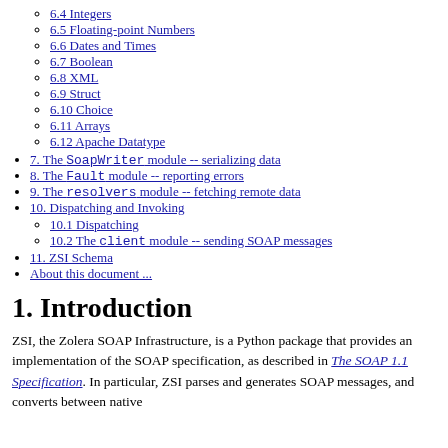6.4 Integers
6.5 Floating-point Numbers
6.6 Dates and Times
6.7 Boolean
6.8 XML
6.9 Struct
6.10 Choice
6.11 Arrays
6.12 Apache Datatype
7. The SoapWriter module -- serializing data
8. The Fault module -- reporting errors
9. The resolvers module -- fetching remote data
10. Dispatching and Invoking
10.1 Dispatching
10.2 The client module -- sending SOAP messages
11. ZSI Schema
About this document ...
1. Introduction
ZSI, the Zolera SOAP Infrastructure, is a Python package that provides an implementation of the SOAP specification, as described in The SOAP 1.1 Specification. In particular, ZSI parses and generates SOAP messages, and converts between native